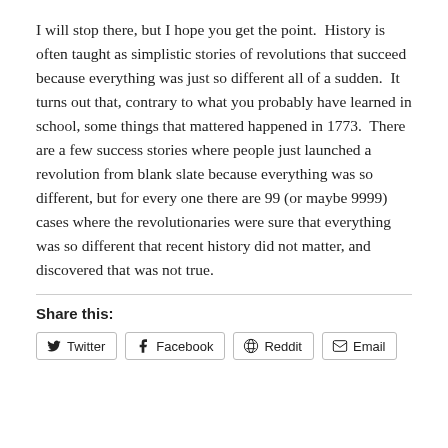I will stop there, but I hope you get the point.  History is often taught as simplistic stories of revolutions that succeed because everything was just so different all of a sudden.  It turns out that, contrary to what you probably have learned in school, some things that mattered happened in 1773.  There are a few success stories where people just launched a revolution from blank slate because everything was so different, but for every one there are 99 (or maybe 9999) cases where the revolutionaries were sure that everything was so different that recent history did not matter, and discovered that was not true.
Share this:
Twitter | Facebook | Reddit | Email